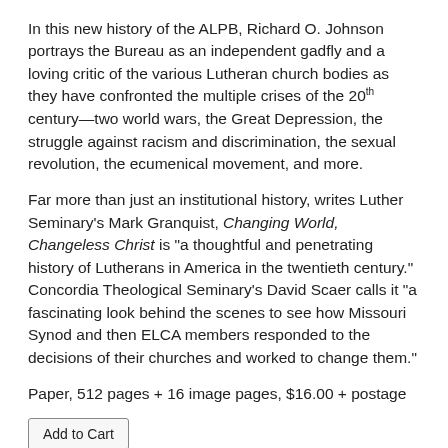In this new history of the ALPB, Richard O. Johnson portrays the Bureau as an independent gadfly and a loving critic of the various Lutheran church bodies as they have confronted the multiple crises of the 20th century—two world wars, the Great Depression, the struggle against racism and discrimination, the sexual revolution, the ecumenical movement, and more.
Far more than just an institutional history, writes Luther Seminary's Mark Granquist, Changing World, Changeless Christ is "a thoughtful and penetrating history of Lutherans in America in the twentieth century." Concordia Theological Seminary's David Scaer calls it "a fascinating look behind the scenes to see how Missouri Synod and then ELCA members responded to the decisions of their churches and worked to change them."
Paper, 512 pages + 16 image pages, $16.00 + postage
Add to Cart
Shipping rates apply to US orders only.
There will be an additional charge for shipping outside the US.